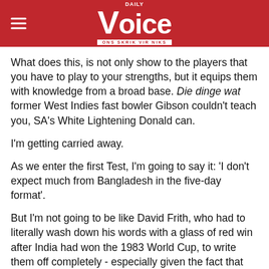Daily Voice — ONS SKRIK VIR NIKS
What does this, is not only show to the players that you have to play to your strengths, but it equips them with knowledge from a broad base. Die dinge wat former West Indies fast bowler Gibson couldn't teach you, SA's White Lightening Donald can.
I'm getting carried away.
As we enter the first Test, I'm going to say it: 'I don't expect much from Bangladesh in the five-day format'.
But I'm not going to be like David Frith, who had to literally wash down his words with a glass of red win after India had won the 1983 World Cup, to write them off completely - especially given the fact that South Africa will be playing with a second string.